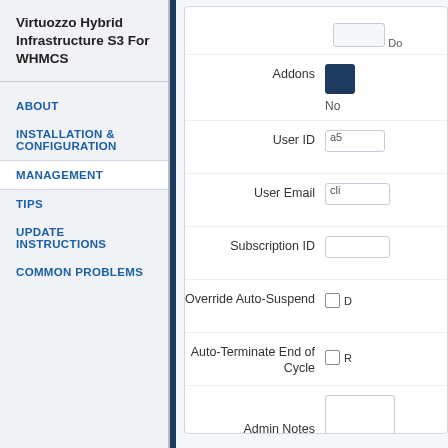Virtuozzo Hybrid Infrastructure S3 For WHMCS
ABOUT
INSTALLATION & CONFIGURATION
MANAGEMENT
TIPS
UPDATE INSTRUCTIONS
COMMON PROBLEMS
Addons
User ID
User Email
Subscription ID
Override Auto-Suspend
Auto-Terminate End of Cycle
Admin Notes